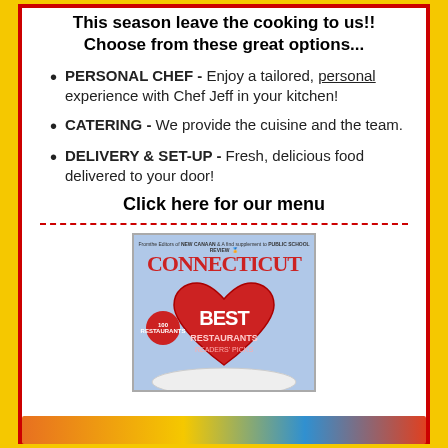This season leave the cooking to us!!
Choose from these great options...
PERSONAL CHEF - Enjoy a tailored, personal experience with Chef Jeff in your kitchen!
CATERING - We provide the cuisine and the team.
DELIVERY & SET-UP - Fresh, delicious food delivered to your door!
Click here for our menu
[Figure (photo): Connecticut magazine cover featuring 100 Best Restaurants with a red heart-shaped design on a white plate]